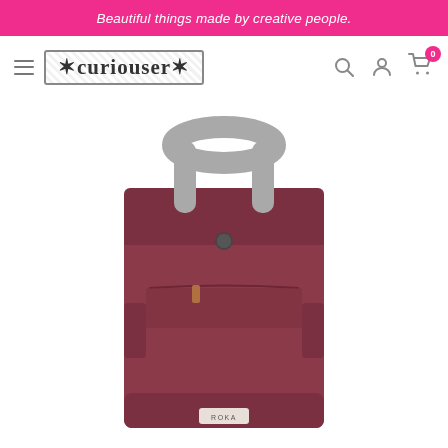Beautiful things made by creative people.
[Figure (logo): Curiouser shop logo with decorative textured border]
[Figure (photo): A mauve/dark rose colored roll-top backpack with grey handles and a small tan leather tag, brand label ROKA at the bottom, photographed on a white background.]